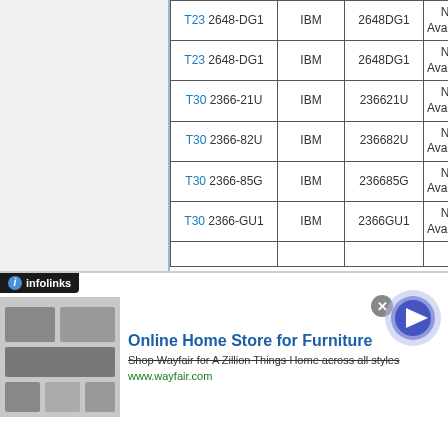| Model | Manufacturer | Part Number | Availability |
| --- | --- | --- | --- |
| T23 2648-DG1 | IBM | 2648DG1 | Not Available |
| T23 2648-DG1 | IBM | 2648DG1 | Not Available |
| T30 2366-21U | IBM | 236621U | Not Available |
| T30 2366-82U | IBM | 236682U | Not Available |
| T30 2366-85G | IBM | 236685G | Not Available |
| T30 2366-GU1 | IBM | 2366GU1 | Not Available |
[Figure (infographic): Advertisement banner: infolinks logo, Wayfair Online Home Store for Furniture ad with product image, text, URL and play button]